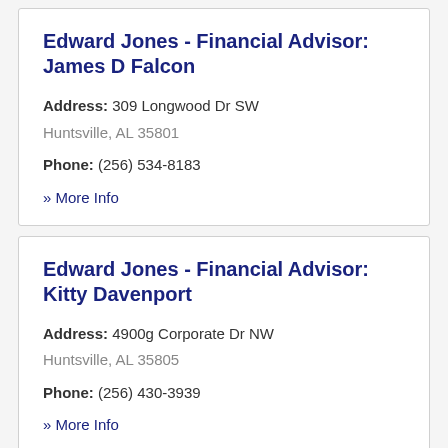Edward Jones - Financial Advisor: James D Falcon
Address: 309 Longwood Dr SW Huntsville, AL 35801
Phone: (256) 534-8183
» More Info
Edward Jones - Financial Advisor: Kitty Davenport
Address: 4900g Corporate Dr NW Huntsville, AL 35805
Phone: (256) 430-3939
» More Info